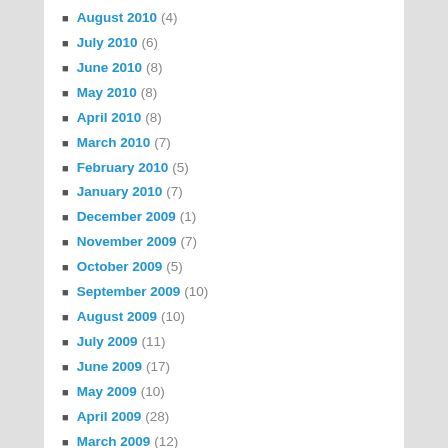August 2010 (4)
July 2010 (6)
June 2010 (8)
May 2010 (8)
April 2010 (8)
March 2010 (7)
February 2010 (5)
January 2010 (7)
December 2009 (1)
November 2009 (7)
October 2009 (5)
September 2009 (10)
August 2009 (10)
July 2009 (11)
June 2009 (17)
May 2009 (10)
April 2009 (28)
March 2009 (12)
February 2009 (11)
January 2009 (5)
December 2008 (8)
November 2008 (4)